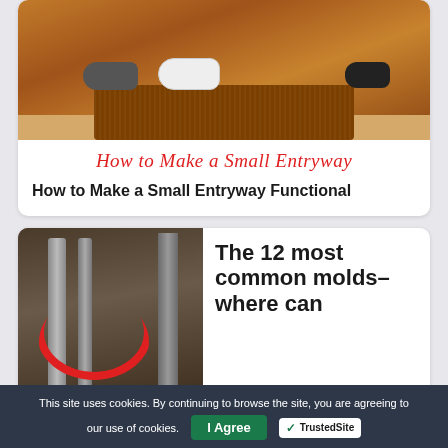[Figure (photo): Photo of shoes on a brown doormat on a wooden floor]
How to Make a Small Entryway
How to Make a Small Entryway Functional
[Figure (photo): Photo of pipes/old structure with a red circle highlighting something, mold-related image]
The 12 most common molds- where can
This site uses cookies. By continuing to browse the site, you are agreeing to our use of cookies.
I Agree